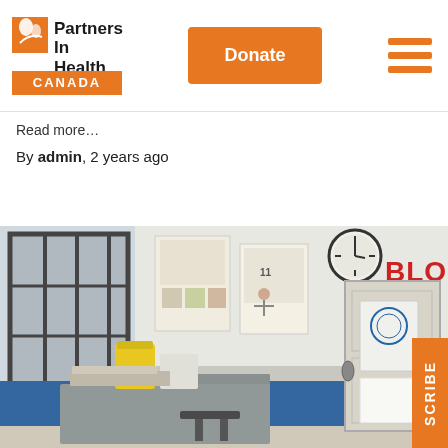[Figure (logo): Partners In Health Canada logo with orange bar and leaf/person icon]
Donate button
Read more…
By admin, 2 years ago
[Figure (photo): Interior of a blood bank room with posters on white and blue walls, a clock, a door labeled BLOOD BANK in red letters, a desk with medical supplies including a yellow sharps container, and a chair.]